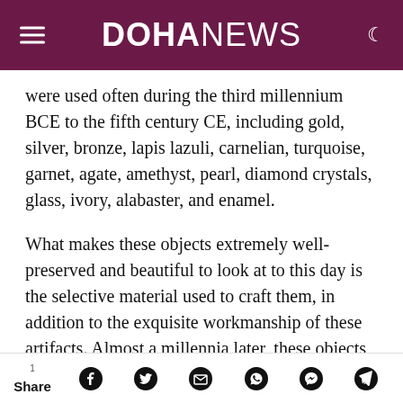DOHA NEWS
were used often during the third millennium BCE to the fifth century CE, including gold, silver, bronze, lapis lazuli, carnelian, turquoise, garnet, agate, amethyst, pearl, diamond crystals, glass, ivory, alabaster, and enamel.
What makes these objects extremely well-preserved and beautiful to look at to this day is the selective material used to craft them, in addition to the exquisite workmanship of these artifacts. Almost a millennia later, these objects are now on
1 Share [social icons: Facebook, Twitter, Email, WhatsApp, Messenger, Telegram]